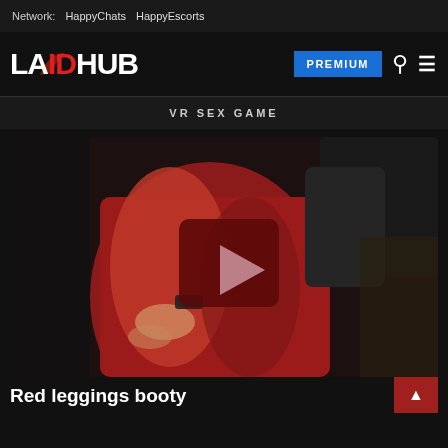Network: HappyChats HappyEscorts
[Figure (logo): LAIDHUB logo with silhouette figure, red accent on 'ID', with PREMIUM button, search and menu icons]
VR SEX GAME
[Figure (photo): Video thumbnail showing person in red leggings with play button overlay]
Red leggings booty